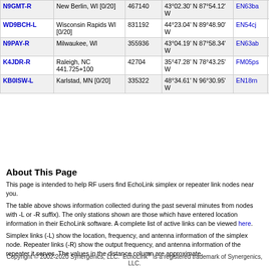| Callsign | Location | Node | Coordinates | Grid | Hz | Freq |
| --- | --- | --- | --- | --- | --- | --- |
| N9GMT-R | New Berlin, WI [0/20] | 467140 | 43°02.30' N 87°54.12' W | EN63ba | 4637.3 | 443.80 |
| WD9BCH-L | Wisconsin Rapids WI [0/20] | 831192 | 44°23.04' N 89°48.90' W | EN54cj | 4637.3 |  |
| N9PAY-R | Milwaukee, WI | 355936 | 43°04.19' N 87°58.34' W | EN63ab | 4638.2 | 443.32 |
| K4JDR-R | Raleigh, NC 441.725+100 | 42704 | 35°47.28' N 78°43.25' W | FM05ps | 4640.7 | 441.72 |
| KB0ISW-L | Karlstad, MN [0/20] | 335322 | 48°34.61' N 96°30.95' W | EN18rn | 4642.2 |  |
About This Page
This page is intended to help RF users find EchoLink simplex or repeater link nodes near you.
The table above shows information collected during the past several minutes from nodes with -L or -R suffix). The only stations shown are those which have entered location information in their EchoLink software. A complete list of active links can be viewed here.
Simplex links (-L) show the location, frequency, and antenna information of the simplex node. Repeater links (-R) show the output frequency, and antenna information of the repeater it serves. The values in the distance column are approximate.
Copyright © 2002-2020 Synergenics, LLC.  EchoLink® is a registered trademark of Synergenics, LLC.